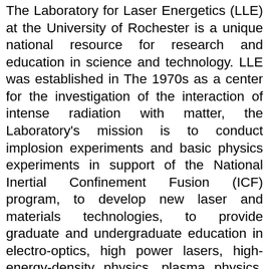The Laboratory for Laser Energetics (LLE) at the University of Rochester is a unique national resource for research and education in science and technology. LLE was established in The 1970s as a center for the investigation of the interaction of intense radiation with matter, the Laboratory's mission is to conduct implosion experiments and basic physics experiments in support of the National Inertial Confinement Fusion (ICF) program, to develop new laser and materials technologies, to provide graduate and undergraduate education in electro-optics, high power lasers, high-energy-density physics, plasma physics, and nuclear fusion technology and to conduct research and development in advanced technology related to high energy density phenomena. Precautions were taken and implemented within the design to control movement and any form of vibration that would adversely affect the laboratories sensitive laser equipment. The sketch shown depicts Laboratory for Laser Energetics major research facility, the OMEGA laser system. OMEGA laser systemstellarthing